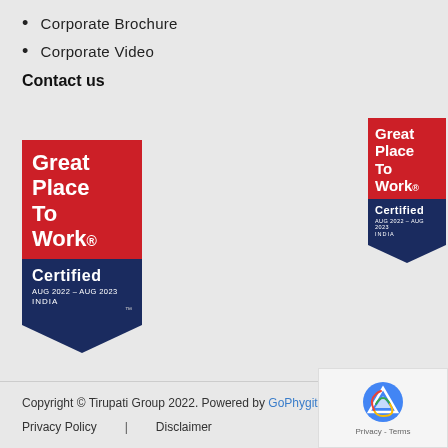Corporate Brochure
Corporate Video
Contact us
[Figure (logo): Great Place To Work Certified badge, AUG 2022 – AUG 2023, INDIA (large, left)]
[Figure (logo): Great Place To Work Certified badge, AUG 2022 – AUG 2023, INDIA (smaller, right, partially cropped)]
Copyright © Tirupati Group 2022. Powered by GoPhygital
Privacy Policy  |  Disclaimer